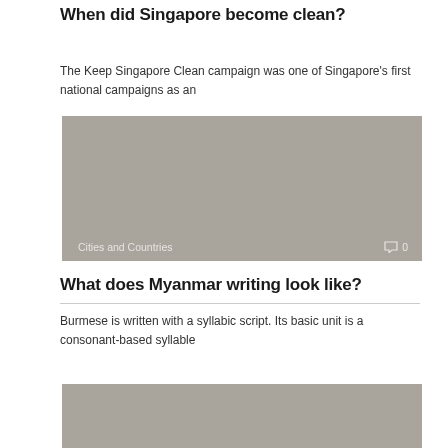When did Singapore become clean?
The Keep Singapore Clean campaign was one of Singapore's first national campaigns as an
[Figure (photo): Gray placeholder image with label 'Cities and Countries' and comment count '0']
What does Myanmar writing look like?
Burmese is written with a syllabic script. Its basic unit is a consonant-based syllable
[Figure (photo): Gray placeholder image, partially visible at bottom of page]